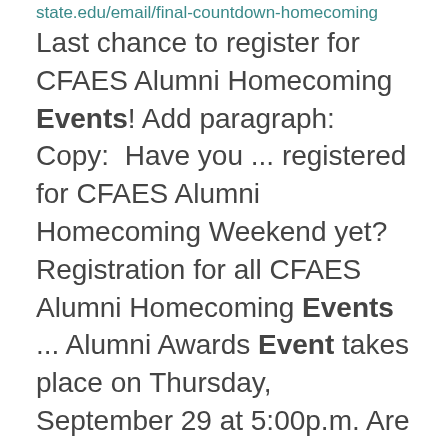state.edu/email/final-countdown-homecoming Last chance to register for CFAES Alumni Homecoming Events! Add paragraph: Copy: Have you ... registered for CFAES Alumni Homecoming Weekend yet? Registration for all CFAES Alumni Homecoming Events ... Alumni Awards Event takes place on Thursday, September 29 at 5:00p.m. Are you curious about what is new ...
WestFest 2022
https://senr.osu.edu/events/westfest-2022 WestFest is an annual public engagement event that highlights STEM research,